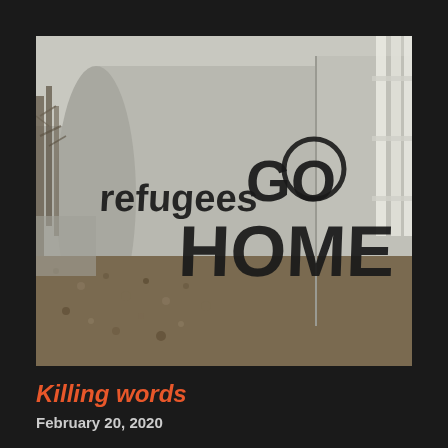[Figure (photo): A concrete wall with graffiti reading 'Refugees GO HOME' spray-painted in large black letters. The scene shows a grey concrete barrier alongside a path covered with gravel/mulch, with bare trees visible on the left and white fence posts on the right. The image is in a muted, somewhat desaturated color palette.]
Killing words
February 20, 2020